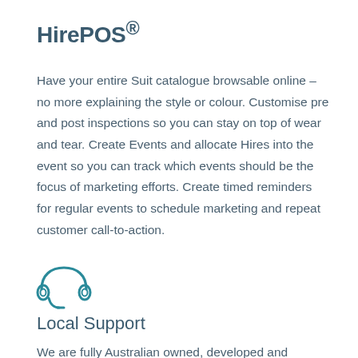HirePOS®
Have your entire Suit catalogue browsable online – no more explaining the style or colour. Customise pre and post inspections so you can stay on top of wear and tear. Create Events and allocate Hires into the event so you can track which events should be the focus of marketing efforts. Create timed reminders for regular events to schedule marketing and repeat customer call-to-action.
[Figure (illustration): Headset/support icon in teal outline style]
Local Support
We are fully Australian owned, developed and